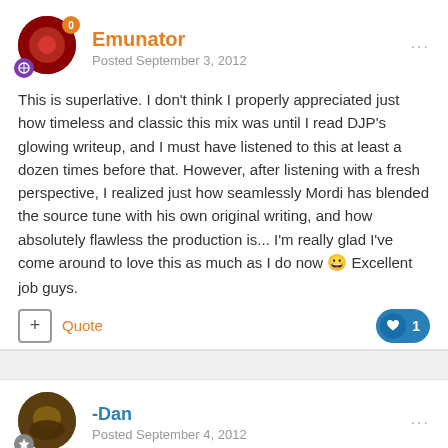Emunator
Posted September 3, 2012
This is superlative. I don't think I properly appreciated just how timeless and classic this mix was until I read DJP's glowing writeup, and I must have listened to this at least a dozen times before that. However, after listening with a fresh perspective, I realized just how seamlessly Mordi has blended the source tune with his own original writing, and how absolutely flawless the production is... I'm really glad I've come around to love this as much as I do now :) Excellent job guys.
Quote
1
-Dan
Posted September 4, 2012
Another Aquatic Ambience??
Yeeah!